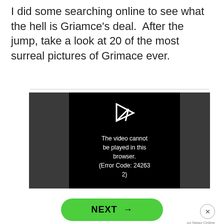I did some searching online to see what the hell is Griamce's deal. After the jump, take a look at 20 of the most surreal pictures of Grimace ever.
[Figure (screenshot): Video player showing error message: 'The video cannot be played in this browser. (Error Code: 242632)']
NEXT →
on Newz Online